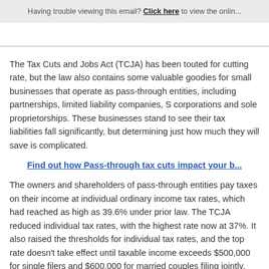Having trouble viewing this email? Click here to view the online version.
The Tax Cuts and Jobs Act (TCJA) has been touted for cutting rate, but the law also contains some valuable goodies for small businesses that operate as pass-through entities, including partnerships, limited liability companies, S corporations and sole proprietorships. These businesses stand to see their tax liabilities fall significantly, but determining just how much they will save is complicated.
Find out how Pass-through tax cuts impact your business
The owners and shareholders of pass-through entities pay taxes on their income at individual ordinary income tax rates, which had reached as high as 39.6% under prior law. The TCJA reduced individual tax rates, with the highest rate now at 37%. It also raised the thresholds for individual tax rates, and the top rate doesn't take effect until taxable income exceeds $500,000 for single filers and $600,000 for married couples filing jointly.